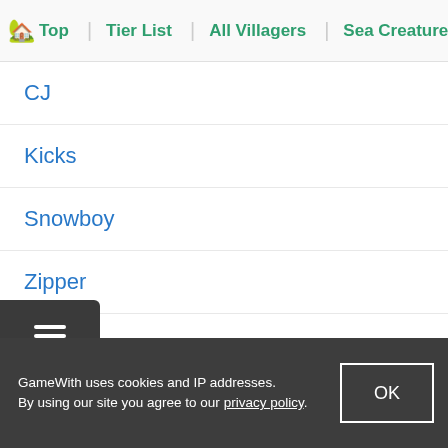🏡 Top | Tier List | All Villagers | Sea Creatures | Fish List
CJ
Kicks
Snowboy
Zipper
Leif
Redd
Rover
Celeste
Jack
GameWith uses cookies and IP addresses. By using our site you agree to our privacy policy.